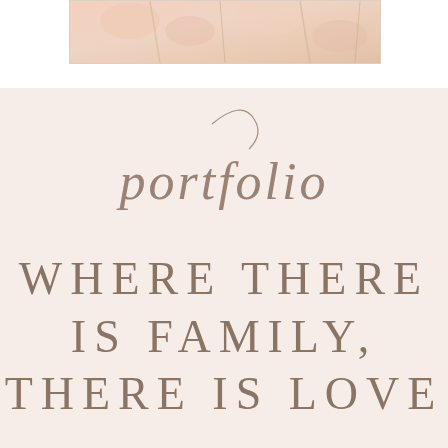[Figure (photo): Partial floral/decorative photograph visible at top of page, showing soft pink and cream tones]
portfolio
WHERE THERE IS FAMILY, THERE IS LOVE